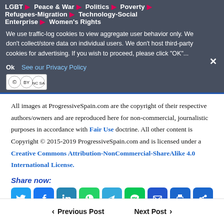LGBT ▶ Peace & War ▶ Politics ▶ Poverty ▶ Refugees-Migration ▶ Technology-Social Enterprise ▶ Women's Rights
We use traffic-log cookies to view aggregate user behavior only. We don't collect/store data on individual users. We don't host third-party cookies for advertising. If you wish to proceed, please click "OK"...
Ok   See our Privacy Policy
[Figure (logo): Creative Commons BY NC SA logo]
All images at ProgressiveSpain.com are the copyright of their respective authors/owners and are reproduced here for non-commercial, journalistic purposes in accordance with Fair Use doctrine. All other content is Copyright © 2015-2019 ProgressiveSpain.com and is licensed under a Creative Commons Attribution-NonCommercial-ShareAlike 4.0 International License.
Share now:
[Figure (infographic): Row of social share buttons: Twitter, Facebook, LinkedIn, WhatsApp, Telegram, LINE, Email, Print, Share+]
◀ Previous Post    Next Post ▶